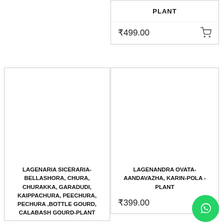₹499.00
[Figure (screenshot): Shopping cart icon]
[Figure (photo): Empty white image area for Lagenaria Siceraria plant product]
LAGENARIA SICERARIA-BELLASHORA, CHURA, CHURAKKA, GARADUDI, KAIPPACHURA, PEECHURA, PECHURA ,BOTTLE GOURD, CALABASH GOURD-PLANT
[Figure (photo): Empty white image area for Lagenandra Ovata product]
LAGENANDRA OVATA-AANDAVAZHA, KARIN-POLA -PLANT
₹399.00
[Figure (screenshot): Shopping cart icon]
[Figure (logo): WhatsApp green circle button icon]